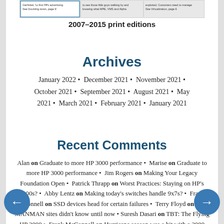[Figure (screenshot): Small screenshot of a print edition page showing three columns of text]
2007–2015 print editions
Archives
January 2022 • December 2021 • November 2021 • October 2021 • September 2021 • August 2021 • May 2021 • March 2021 • February 2021 • January 2021
Recent Comments
Alan on Graduate to more HP 3000 performance • Marise on Graduate to more HP 3000 performance • Jim Rogers on Making Your Legacy Foundation Open • Patrick Thrapp on Worst Practices: Staying on HP's 3000s? • Abby Lentz on Making today's switches handle 9x7s? • Frank McConnell on SSD devices head for certain failures • Terry Floyd on What MANMAN sites didn't know until now • Suresh Dasari on TBT: The Flying HP 3000 • Frank McConnell on Hurricane season was a hit with a 3000 show